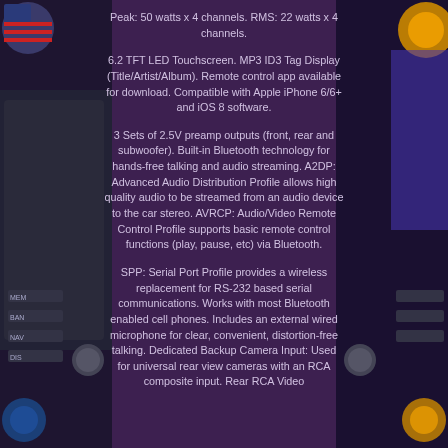Peak: 50 watts x 4 channels. RMS: 22 watts x 4 channels.
6.2 TFT LED Touchscreen. MP3 ID3 Tag Display (Title/Artist/Album). Remote control app available for download. Compatible with Apple iPhone 6/6+ and iOS 8 software.
3 Sets of 2.5V preamp outputs (front, rear and subwoofer). Built-in Bluetooth technology for hands-free talking and audio streaming. A2DP: Advanced Audio Distribution Profile allows high quality audio to be streamed from an audio device to the car stereo. AVRCP: Audio/Video Remote Control Profile supports basic remote control functions (play, pause, etc) via Bluetooth.
SPP: Serial Port Profile provides a wireless replacement for RS-232 based serial communications. Works with most Bluetooth enabled cell phones. Includes an external wired microphone for clear, convenient, distortion-free talking. Dedicated Backup Camera Input: Used for universal rear view cameras with an RCA composite input. Rear RCA Video